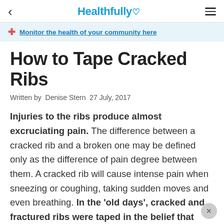< Healthfully ♡ ≡
✚ Monitor the health of your community here
How to Tape Cracked Ribs
Written by  Denise Stern  27 July, 2017
Injuries to the ribs produce almost excruciating pain. The difference between a cracked rib and a broken one may be defined only as the difference of pain degree between them. A cracked rib will cause intense pain when sneezing or coughing, taking sudden moves and even breathing. In the 'old days', cracked and fractured ribs were taped in the belief that doing so would increase stability and decrease pain. However, be cautioned that